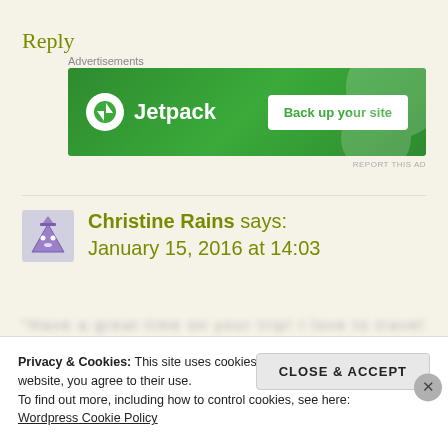Reply
Advertisements
[Figure (screenshot): Jetpack advertisement banner with green background showing Jetpack logo and 'Back up your site' button]
REPORT THIS AD
Christine Rains says:
January 15, 2016 at 14:03
Privacy & Cookies: This site uses cookies. By continuing to use this website, you agree to their use.
To find out more, including how to control cookies, see here:
Wordpress Cookie Policy
CLOSE & ACCEPT